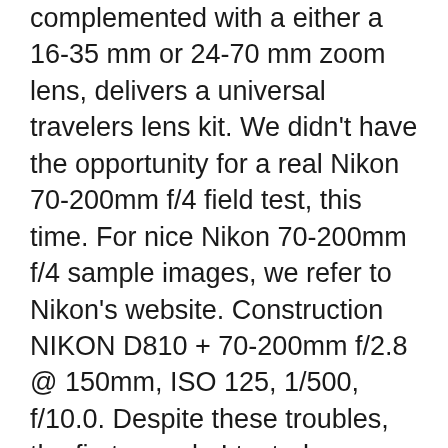complemented with a either a 16-35 mm or 24-70 mm zoom lens, delivers a universal travelers lens kit. We didn't have the opportunity for a real Nikon 70-200mm f/4 field test, this time. For nice Nikon 70-200mm f/4 sample images, we refer to Nikon's website. Construction NIKON D810 + 70-200mm f/2.8 @ 150mm, ISO 125, 1/500, f/10.0. Despite these troubles, the first sample I tested was better optically than the second one (which had a pretty badly decentered lens element, resulting in poor sharpness results at the edges of the frame).
The Nikon AF-S 70-200mm f/4G zoom lens offers a 3x zoom range which,